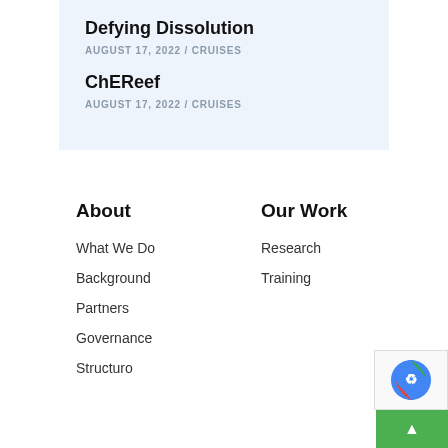Defying Dissolution
AUGUST 17, 2022 / CRUISES
ChEReef
AUGUST 17, 2022 / CRUISES
About
What We Do
Background
Partners
Governance Structure
Our Work
Research
Training